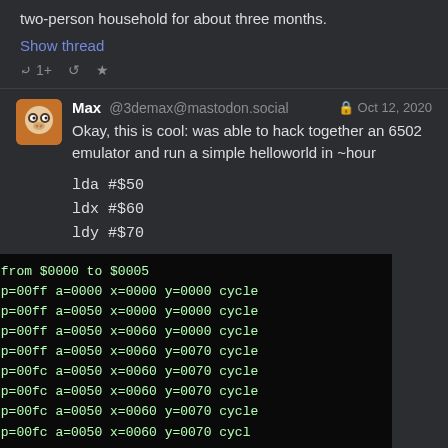a million times as much, and enough to power a two-person household for about three months.
Show thread
Max @3demax@mastodon.social  Oct 12, 2020
Okay, this is cool: was able to hack together an 6502 emulator and run a simple helloworld in ~hour

lda #$50
ldx #$60
ldy #$70
[Figure (screenshot): Terminal output showing 6502 emulator state: bytes from $0000 to $0005, followed by register dumps showing sp=00ff/00fc, a=0050, x=0000/0060, y=0000/0070, cycle values]